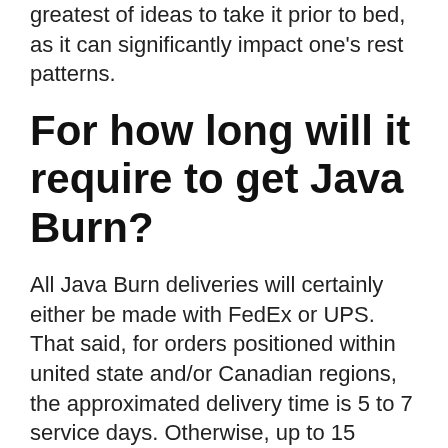greatest of ideas to take it prior to bed, as it can significantly impact one's rest patterns.
For how long will it require to get Java Burn?
All Java Burn deliveries will certainly either be made with FedEx or UPS. That said, for orders positioned within united state and/or Canadian regions, the approximated delivery time is 5 to 7 service days. Otherwise, up to 15 organization days (plus customs clearance time) might be needed before reporting to customer care.
Is Java Burn secured by a money-back warranty?